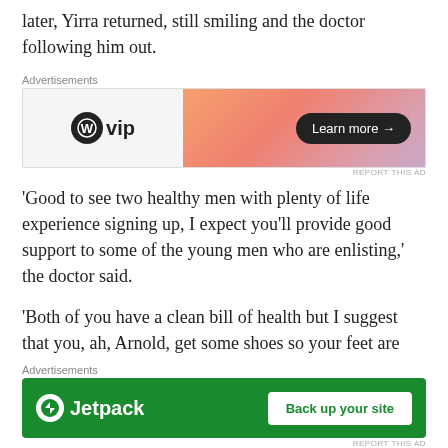later, Yirra returned, still smiling and the doctor following him out.
[Figure (other): WordPress VIP advertisement banner with gradient background and 'Learn more' button]
'Good to see two healthy men with plenty of life experience signing up, I expect you'll provide good support to some of the young men who are enlisting,' the doctor said.
'Both of you have a clean bill of health but I suggest that you, ah, Arnold, get some shoes so your feet are
[Figure (other): Jetpack advertisement banner with green background and 'Back up your site' button]